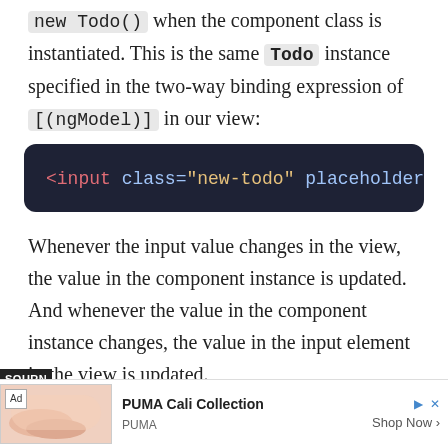new Todo() when the component class is instantiated. This is the same Todo instance specified in the two-way binding expression of [(ngModel)] in our view:
[Figure (screenshot): Dark code block showing HTML snippet: <input class="new-todo" placeholder="Wha]
Whenever the input value changes in the view, the value in the component instance is updated. And whenever the value in the component instance changes, the value in the input element in the view is updated.
[Figure (other): Advertisement banner: PUMA Cali Collection, Shop Now]